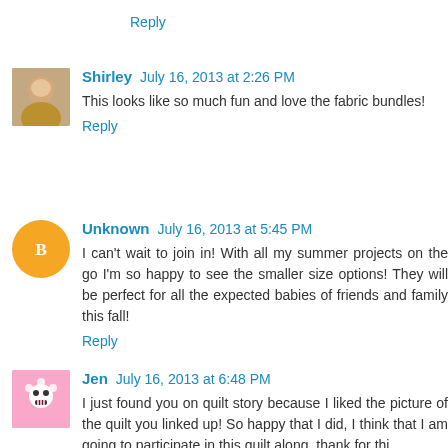Reply
Shirley July 16, 2013 at 2:26 PM
This looks like so much fun and love the fabric bundles!
Reply
Unknown July 16, 2013 at 5:45 PM
I can't wait to join in! With all my summer projects on the go I'm so happy to see the smaller size options! They will be perfect for all the expected babies of friends and family this fall!
Reply
Jen July 16, 2013 at 6:48 PM
I just found you on quilt story because I liked the picture of the quilt you linked up! So happy that I did, I think that I am going to participate in this quilt along, thank for this...